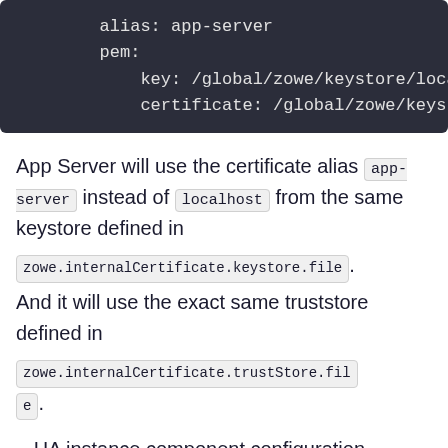[Figure (screenshot): Dark-themed code block showing YAML configuration with alias: app-server, pem:, key: /global/zowe/keystore/loca..., certificate: /global/zowe/keyst...]
App Server will use the certificate alias app-server instead of localhost from the same keystore defined in zowe.internalCertificate.keystore.file. And it will use the exact same truststore defined in zowe.internalCertificate.trustStore.file.
HA instance component configuration haInstances.<ha-instance>.compon<component> can override global level component configurations components.